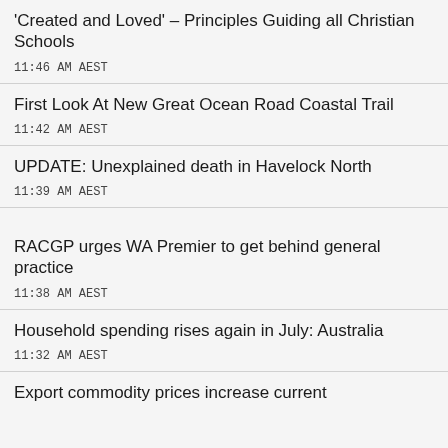'Created and Loved' – Principles Guiding all Christian Schools
11:46 AM AEST
First Look At New Great Ocean Road Coastal Trail
11:42 AM AEST
UPDATE: Unexplained death in Havelock North
11:39 AM AEST
RACGP urges WA Premier to get behind general practice
11:38 AM AEST
Household spending rises again in July: Australia
11:32 AM AEST
Export commodity prices increase current